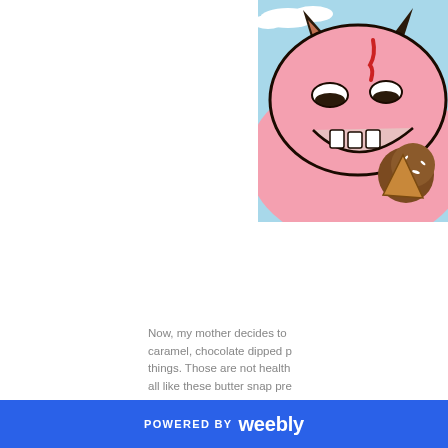[Figure (illustration): Cartoon illustration of a pink monster or creature with fins/horns holding a chocolate ice cream scoop, against a light blue sky background with white clouds. The creature has sleepy or grumpy eyes and a large open mouth showing teeth.]
Now, my mother decides to caramel, chocolate dipped p things. Those are not health all like these butter snap pre
POWERED BY weebly